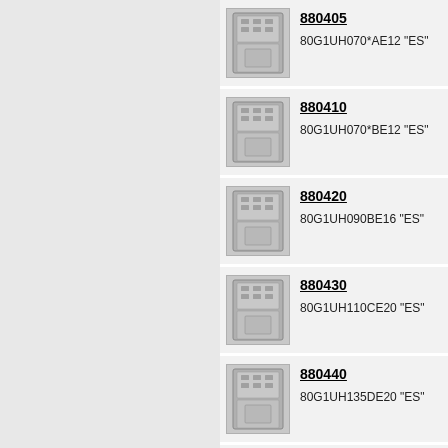[Figure (photo): Furnace unit product image for 880405]
880405
80G1UH070*AE12 "ES"
[Figure (photo): Furnace unit product image for 880410]
880410
80G1UH070*BE12 "ES"
[Figure (photo): Furnace unit product image for 880420]
880420
80G1UH090BE16 "ES"
[Figure (photo): Furnace unit product image for 880430]
880430
80G1UH110CE20 "ES"
[Figure (photo): Furnace unit product image for 880440]
880440
80G1UH135DE20 "ES"
[Figure (photo): Furnace unit product image for 880505]
880505
80G1DF045AE12 "ES"D